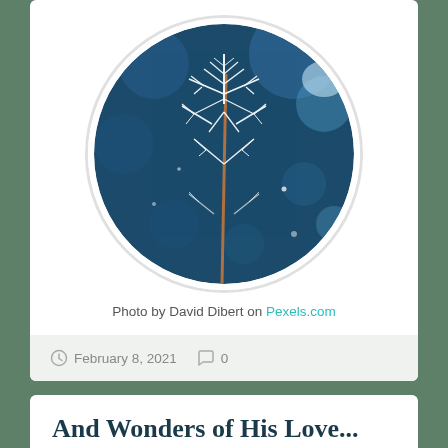[Figure (photo): Circular cropped photo of a frost-covered plant stem with snowflake-like ice crystals against a blurred dark teal bokeh background]
Photo by David Dibert on Pexels.com
February 8, 2021   0
And Wonders of His Love...